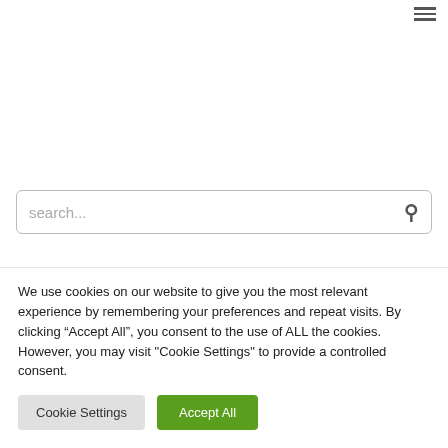[Figure (screenshot): Hamburger menu icon (three horizontal lines) in the top-right corner of a webpage header]
[Figure (screenshot): Search bar with placeholder text 'search...' and a search icon on the right]
We use cookies on our website to give you the most relevant experience by remembering your preferences and repeat visits. By clicking “Accept All”, you consent to the use of ALL the cookies. However, you may visit "Cookie Settings" to provide a controlled consent.
Cookie Settings
Accept All